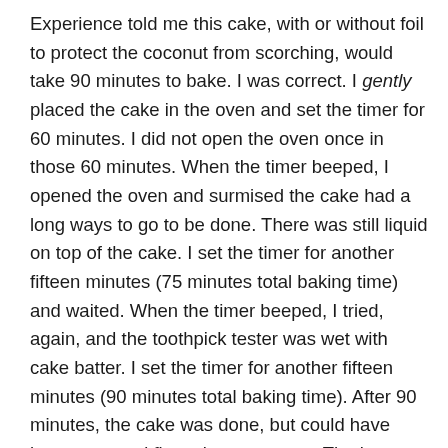Experience told me this cake, with or without foil to protect the coconut from scorching, would take 90 minutes to bake. I was correct. I gently placed the cake in the oven and set the timer for 60 minutes. I did not open the oven once in those 60 minutes. When the timer beeped, I opened the oven and surmised the cake had a long ways to go to be done. There was still liquid on top of the cake. I set the timer for another fifteen minutes (75 minutes total baking time) and waited. When the timer beeped, I tried, again, and the toothpick tester was wet with cake batter. I set the timer for another fifteen minutes (90 minutes total baking time). After 90 minutes, the cake was done, but could have been removed five minutes sooner. The bottom corners of the cake were slightly overdone, but the cake was cooked through. Next time I will allow 85 minutes total baking time.